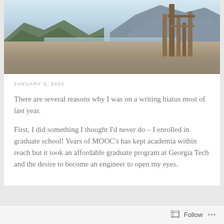[Figure (photo): Landscape photo showing a river valley with mountains on both sides, a dry/low riverbed in the foreground with gravel and sand, wooden posts/pilings visible on the right side, and a clear sky.]
JANUARY 3, 2020
There are several reasons why I was on a writing hiatus most of last year.
First, I did something I thought I'd never do – I enrolled in graduate school! Years of MOOC's has kept academia within reach but it took an affordable graduate program at Georgia Tech and the desire to become an engineer to open my eyes.